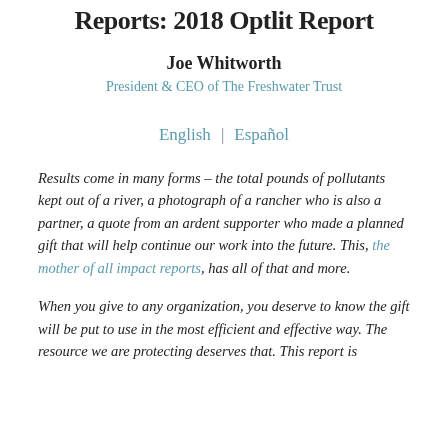Reports: 2018 Optlit Report
Joe Whitworth
President & CEO of The Freshwater Trust
English  |  Español
Results come in many forms – the total pounds of pollutants kept out of a river, a photograph of a rancher who is also a partner, a quote from an ardent supporter who made a planned gift that will help continue our work into the future. This, the mother of all impact reports, has all of that and more.
When you give to any organization, you deserve to know the gift will be put to use in the most efficient and effective way. The resource we are protecting deserves that. This report is